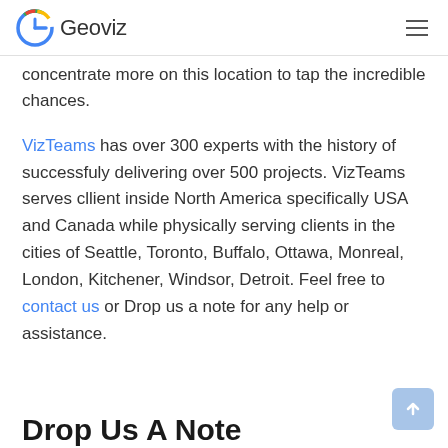Geoviz
concentrate more on this location to tap the incredible chances.
VizTeams has over 300 experts with the history of successfuly delivering over 500 projects. VizTeams serves cllient inside North America specifically USA and Canada while physically serving clients in the cities of Seattle, Toronto, Buffalo, Ottawa, Monreal, London, Kitchener, Windsor, Detroit. Feel free to contact us or Drop us a note for any help or assistance.
Drop Us A Note